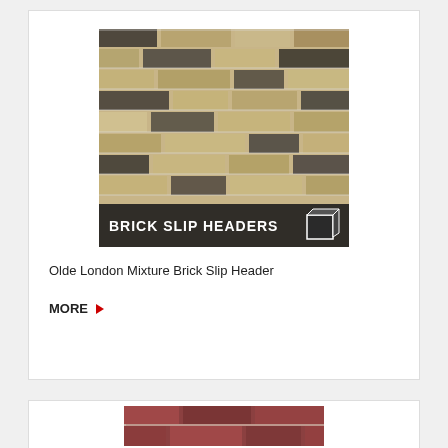[Figure (photo): Photo of Olde London Mixture brick slip headers — sandy/yellow and dark grey mixed bricks in a textured wall pattern. A label bar at the bottom reads 'BRICK SLIP HEADERS' in bold white text on a dark background, with a small dark tile icon at bottom-right.]
Olde London Mixture Brick Slip Header
MORE ▶
[Figure (photo): Partial view of red/brown brick wall — second product card, bottom of page, mostly cut off.]